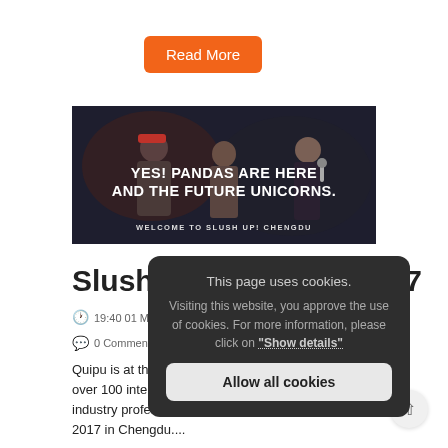Read More
[Figure (photo): Dark atmospheric photo of people on stage with bold white text overlay reading 'YES! PANDAS ARE HERE AND THE FUTURE UNICORNS.' and smaller text 'WELCOME TO SLUSH UP! CHENGDU']
Slush up! Chengdu 2017
19:40 01 May in Events, Writes by Quipu
0 Comments    27 Likes
Quipu is at the Slush up! Chengdu, China, with over 100 international startups, investors and industry professionals. Meet us on May 10-12, 2017 in Chengdu....
This page uses cookies.

Visiting this website, you approve the use of cookies. For more information, please click on "Show details"

Allow all cookies